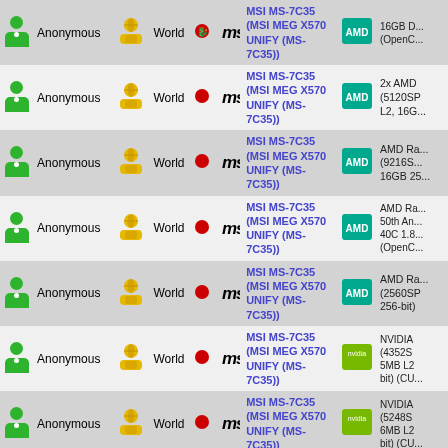| User | Name | Scope | Motherboard Logo | Motherboard | GPU Logo | GPU |
| --- | --- | --- | --- | --- | --- | --- |
| Anonymous | World | MSI | MSI MS-7C35 (MSI MEG X570 UNIFY (MS-7C35)) | AMD | 16GB D... (OpenC... |
| Anonymous | World | MSI | MSI MS-7C35 (MSI MEG X570 UNIFY (MS-7C35)) | AMD | 2x AMD (5120SP L2, 16G... |
| Anonymous | World | MSI | MSI MS-7C35 (MSI MEG X570 UNIFY (MS-7C35)) | AMD | AMD Ra... (9216S... 16GB 25... |
| Anonymous | World | MSI | MSI MS-7C35 (MSI MEG X570 UNIFY (MS-7C35)) | AMD | AMD Ra... 50th An... 40C 1.8... (OpenC... |
| Anonymous | World | MSI | MSI MS-7C35 (MSI MEG X570 UNIFY (MS-7C35)) | AMD | AMD Ra... (2560SP 256-bit) |
| Anonymous | World | MSI | MSI MS-7C35 (MSI MEG X570 UNIFY (MS-7C35)) | NVIDIA | NVIDIA (4352S 5MB L2 bit) (CU... |
| Anonymous | World | MSI | MSI MS-7C35 (MSI MEG X570 UNIFY (MS-7C35)) | NVIDIA | NVIDIA (5248S 6MB L2 bit) (CU... |
| Anonymous | World | MSI | MSI MS-7C35 (MSI MEG X570 UNIFY (MS-7C35)) | AMD | AMD Ra... (2560SP 256-bit) |
| Anonymous | World | MSI | MSI MS-7C35 (MSI MEG X570 UNIFY (MS-7C35)) | AMD | AMD Ra... (2304SP... |